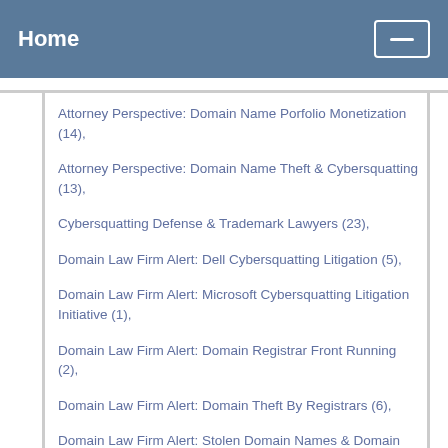Home
Attorney Perspective: Domain Name Porfolio Monetization (14),
Attorney Perspective: Domain Name Theft & Cybersquatting (13),
Cybersquatting Defense & Trademark Lawyers (23),
Domain Law Firm Alert: Dell Cybersquatting Litigation (5),
Domain Law Firm Alert: Microsoft Cybersquatting Litigation Initiative (1),
Domain Law Firm Alert: Domain Registrar Front Running (2),
Domain Law Firm Alert: Domain Theft By Registrars (6),
Domain Law Firm Alert: Stolen Domain Names & Domain Name Theft (3),
Domain Name Defense: Success Stories (1),